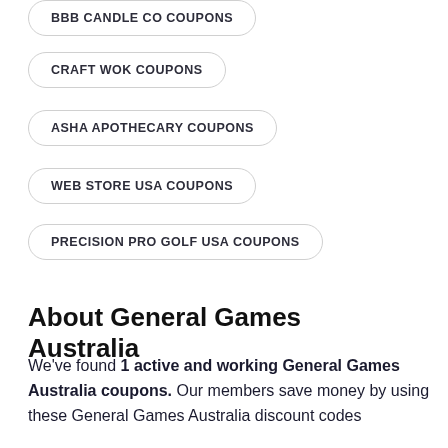BBB CANDLE CO COUPONS
CRAFT WOK COUPONS
ASHA APOTHECARY COUPONS
WEB STORE USA COUPONS
PRECISION PRO GOLF USA COUPONS
About General Games Australia
We've found 1 active and working General Games Australia coupons. Our members save money by using these General Games Australia discount codes